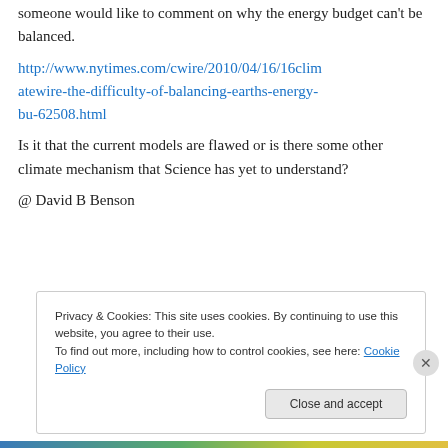someone would like to comment on why the energy budget can't be balanced.
http://www.nytimes.com/cwire/2010/04/16/16climatewire-the-difficulty-of-balancing-earths-energy-bu-62508.html
Is it that the current models are flawed or is there some other climate mechanism that Science has yet to understand?
@ David B Benson
Privacy & Cookies: This site uses cookies. By continuing to use this website, you agree to their use.
To find out more, including how to control cookies, see here: Cookie Policy